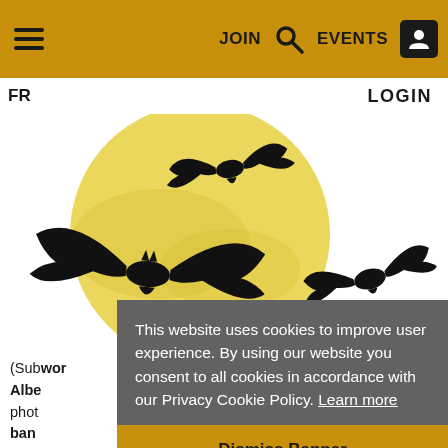≡  JOIN  🔍  EVENTS  👤
FR   LOGIN
[Figure (illustration): Halloween illustration with a large yellow full moon and black bat silhouettes flying in front of it on a white background]
(Sub... world... Albe... photo... ban... my h... stro... of image is right up my alley. I love taking literary
This website uses cookies to improve user experience. By using our website you consent to all cookies in accordance with our Privacy Cookie Policy. Learn more
Dismiss Banner